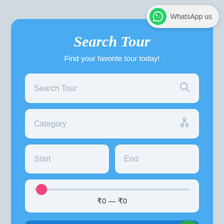[Figure (screenshot): WhatsApp us button in top right corner with green WhatsApp logo icon]
Search Tour
Find your favorite tour today!
Search Tour (input field with search icon)
Category (input field with filter icon)
Start (input field)
End (input field)
₹0 — ₹0 (price range slider)
FIND TOURS (button)